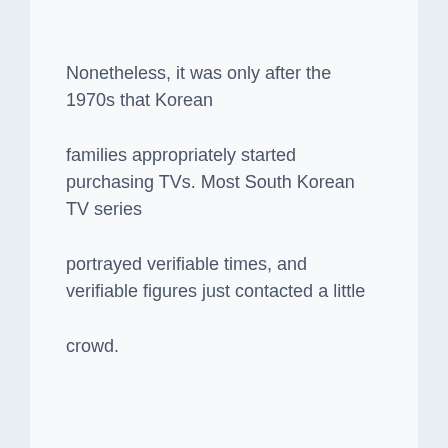Nonetheless, it was only after the 1970s that Korean families appropriately started purchasing TVs. Most South Korean TV series portrayed verifiable times, and verifiable figures just contacted a little crowd.